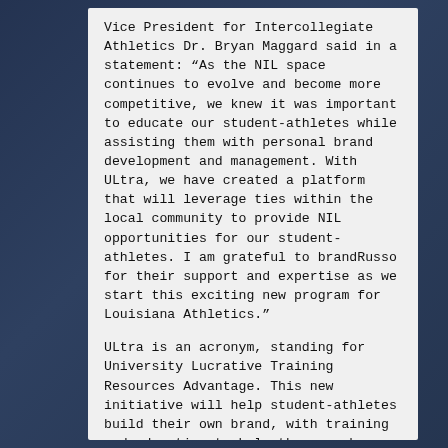Vice President for Intercollegiate Athletics Dr. Bryan Maggard said in a statement: “As the NIL space continues to evolve and become more competitive, we knew it was important to educate our student-athletes while assisting them with personal brand development and management. With ULtra, we have created a platform that will leverage ties within the local community to provide NIL opportunities for our student-athletes. I am grateful to brandRusso for their support and expertise as we start this exciting new program for Louisiana Athletics.”
ULtra is an acronym, standing for University Lucrative Training Resources Advantage. This new initiative will help student-athletes build their own brand, with training and education to help them reach their goals. BrandRusso will come in with marketing representatives to help student-athletes